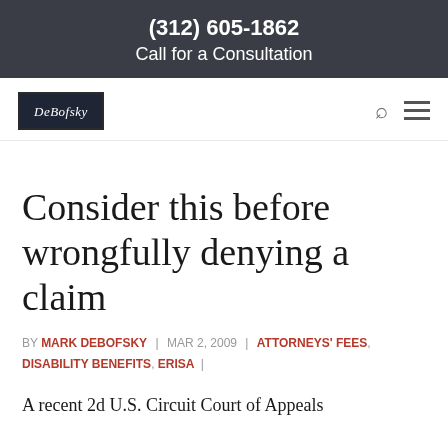(312) 605-1862
Call for a Consultation
[Figure (logo): DeBofsky law firm logo in dark navy box with white italic text]
Consider this before wrongfully denying a claim
BY MARK DEBOFSKY | MAR 2, 2009 | ATTORNEYS' FEES, DISABILITY BENEFITS, ERISA |
A recent 2d U.S. Circuit Court of Appeals